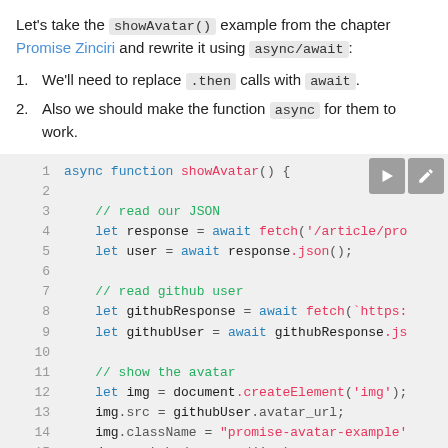Let's take the showAvatar() example from the chapter Promise Zinciri and rewrite it using async/await:
1. We'll need to replace .then calls with await.
2. Also we should make the function async for them to work.
[Figure (screenshot): Code block showing async function showAvatar() with line numbers 1-15, syntax highlighted JavaScript code using async/await pattern. Lines include: async function showAvatar() {, blank line, // read our JSON, let response = await fetch('/article/pro..., let user = await response.json();, blank line, // read github user, let githubResponse = await fetch(`https:..., let githubUser = await githubResponse.js..., blank line, // show the avatar, let img = document.createElement('img');, img.src = githubUser.avatar_url;, img.className = "promise-avatar-example'..., document.body.append(img);. Two toolbar buttons (play and edit) in top right corner.]